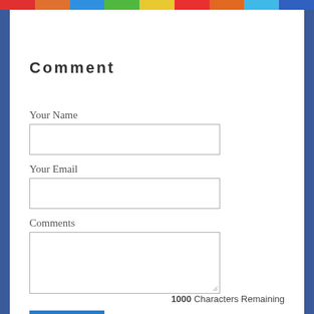Comment
Your Name
Your Email
Comments
Submit
1000 Characters Remaining